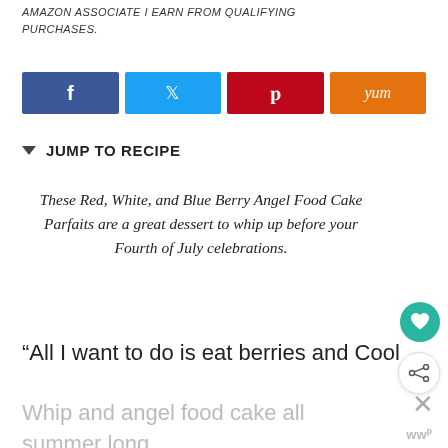AMAZON ASSOCIATE I EARN FROM QUALIFYING PURCHASES.
[Figure (infographic): Social sharing buttons row: Facebook (dark blue), Twitter (light blue), Pinterest (dark red), Yummly (orange)]
JUMP TO RECIPE
These Red, White, and Blue Berry Angel Food Cake Parfaits are a great dessert to whip up before your Fourth of July celebrations.
“All I want to do is eat berries and Cool
Whip and angel food cake all summer long